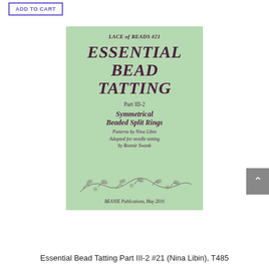[Figure (other): Add to Cart button with purple border]
[Figure (illustration): Book cover for 'Essential Bead Tatting Part III-2 #21' by Nina Libin, adapted for needle tatting by Bonnie Swank. Light green cover with decorative vine illustrations. Published by BEANIE Publications, May 2016. Series: Lace of Beads #21.]
Essential Bead Tatting Part III-2 #21 (Nina Libin), T485